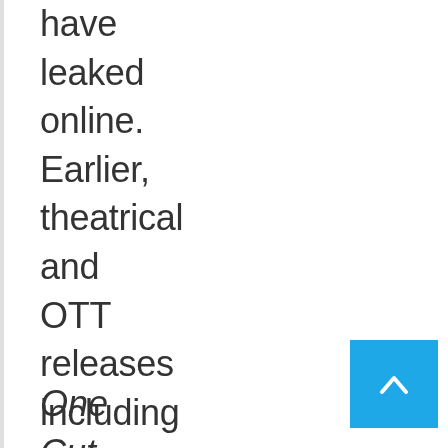have leaked online. Earlier, theatrical and OTT releases including
One Cut Two Cut, Love Mocktail 2,